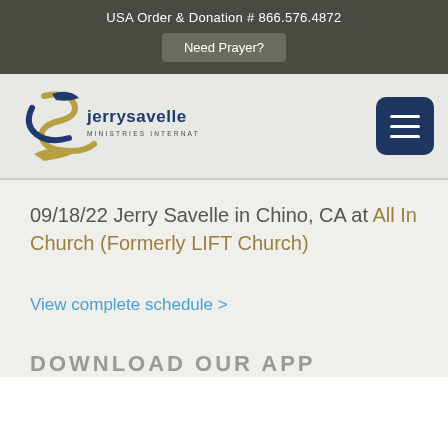USA Order & Donation # 866.576.4872
Need Prayer?
[Figure (logo): Jerry Savelle Ministries International logo with stylized S ribbon in blue and gold]
09/18/22 Jerry Savelle in Chino, CA at All In Church (Formerly LIFT Church)
View complete schedule >
DOWNLOAD OUR APP